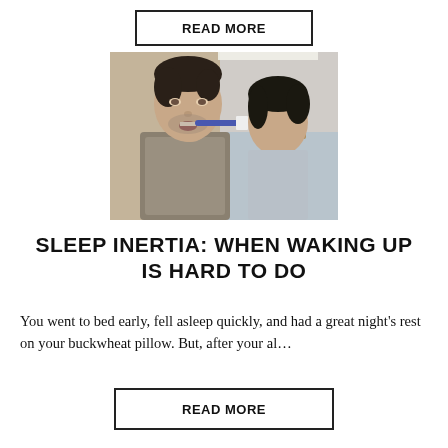READ MORE
[Figure (photo): A man brushing his teeth while looking in a bathroom mirror, appearing groggy or tired. His reflection is visible in the mirror.]
SLEEP INERTIA: WHEN WAKING UP IS HARD TO DO
You went to bed early, fell asleep quickly, and had a great night’s rest on your buckwheat pillow. But, after your al…
READ MORE